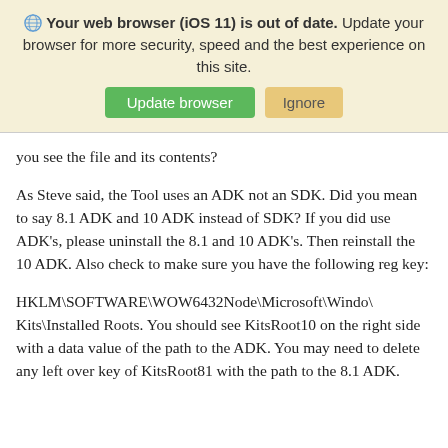[Figure (screenshot): Browser update warning banner with globe icon, bold text 'Your web browser (iOS 11) is out of date.' followed by update prompt text, and two buttons: 'Update browser' (green) and 'Ignore' (tan/orange)]
you see the file and its contents?
As Steve said, the Tool uses an ADK not an SDK. Did you mean to say 8.1 ADK and 10 ADK instead of SDK? If you did use ADK's, please uninstall the 8.1 and 10 ADK's. Then reinstall the 10 ADK. Also check to make sure you have the following reg key:
HKLM\SOFTWARE\WOW6432Node\Microsoft\Windows Kits\Installed Roots. You should see KitsRoot10 on the right side with a data value of the path to the ADK. You may need to delete any left over key of KitsRoot81 with the path to the 8.1 ADK.